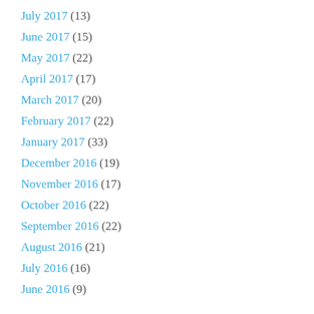July 2017 (13)
June 2017 (15)
May 2017 (22)
April 2017 (17)
March 2017 (20)
February 2017 (22)
January 2017 (33)
December 2016 (19)
November 2016 (17)
October 2016 (22)
September 2016 (22)
August 2016 (21)
July 2016 (16)
June 2016 (9)